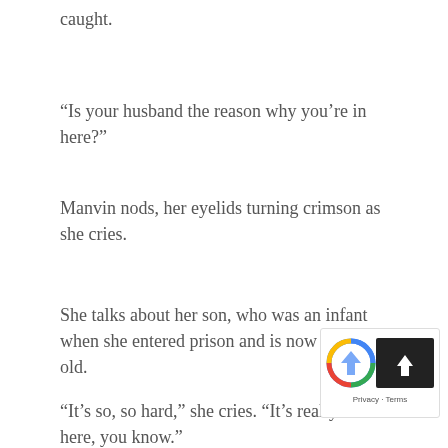caught.
“Is your husband the reason why you’re in here?”
Manvin nods, her eyelids turning crimson as she cries.
She talks about her son, who was an infant when she entered prison and is now four years old.
“It’s so, so hard,” she cries. “It’s really hard here, you know.”